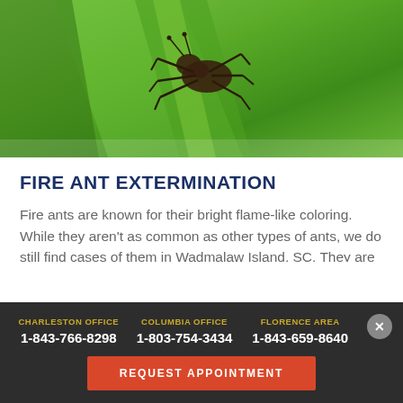[Figure (photo): Close-up macro photo of a fire ant on a green leaf/blade of grass, showing the insect's legs and body against a bright green background]
FIRE ANT EXTERMINATION
Fire ants are known for their bright flame-like coloring. While they aren't as common as other types of ants, we do still find cases of them in Wadmalaw Island, SC. They are one of the smallest insects in the world, but they live and travel in large packs. They are bright red and orange in color, and they have a unique behavior of attacking humans. A group of fire ants may suddenly crawl on you
CHARLESTON OFFICE 1-843-766-8298 | COLUMBIA OFFICE 1-803-754-3434 | FLORENCE AREA 1-843-659-8640 | REQUEST APPOINTMENT